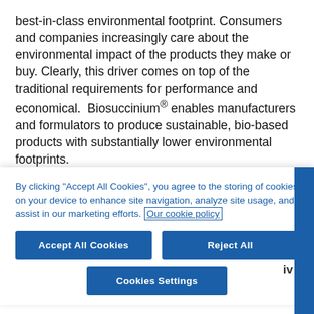best-in-class environmental footprint. Consumers and companies increasingly care about the environmental impact of the products they make or buy. Clearly, this driver comes on top of the traditional requirements for performance and economical. Biosuccinium® enables manufacturers and formulators to produce sustainable, bio-based products with substantially lower environmental footprints.
BIOSUCCINIUM® is produced with a patented low pH, yeast-
By clicking "Accept All Cookies", you agree to the storing of cookies on your device to enhance site navigation, analyze site usage, and assist in our marketing efforts. Our cookie policy